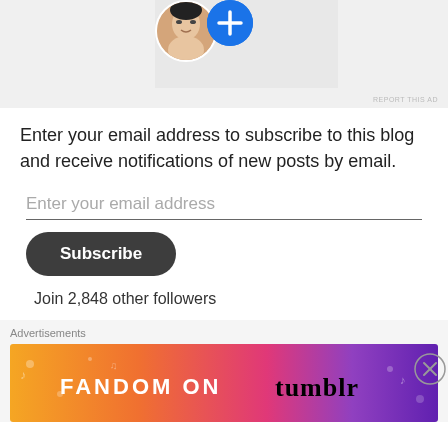[Figure (screenshot): Top ad area with profile picture of an Asian woman and a blue plus button circle on a light gray background, with REPORT THIS AD text at bottom right]
Enter your email address to subscribe to this blog and receive notifications of new posts by email.
Enter your email address
Subscribe
Join 2,848 other followers
Advertisements
[Figure (screenshot): Fandom on Tumblr advertisement banner with colorful gradient background from orange to purple with decorative icons and text FANDOM ON tumblr]